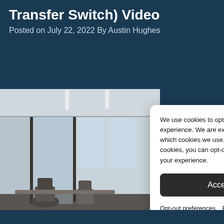Transfer Switch) Video
Posted on July 22, 2022 By Austin Hughes
[Figure (photo): Office interior with glass walls, chairs, and desks]
We use cookies to optimize & improve your experience. We are extremely careful with which cookies we use. For non-essential cookies, you can opt-out, but it may affect your experience.
Accept all
Opt-out preferences   Privacy Statement   Impressum